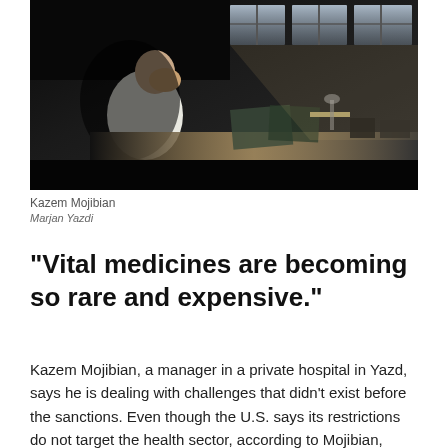[Figure (photo): A man in a white shirt sits at a desk in a dimly lit office, holding his head in his hand, with papers and objects scattered on the desk and windows in the background letting in some light.]
Kazem Mojibian
Marjan Yazdi
"Vital medicines are becoming so rare and expensive."
Kazem Mojibian, a manager in a private hospital in Yazd, says he is dealing with challenges that didn't exist before the sanctions. Even though the U.S. says its restrictions do not target the health sector, according to Mojibian, shortages in